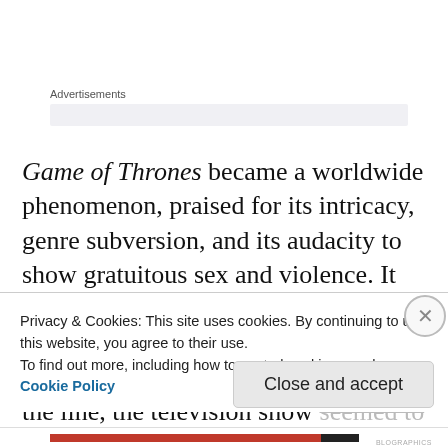Advertisements
Game of Thrones became a worldwide phenomenon, praised for its intricacy, genre subversion, and its audacity to show gratuitous sex and violence. It was compelling television, garnering countless awards and rushing in a new era of television. But somewhere along the line, the television show seemed to lose its way, resulting in an unprecedented
Privacy & Cookies: This site uses cookies. By continuing to use this website, you agree to their use.
To find out more, including how to control cookies, see here: Cookie Policy
Close and accept